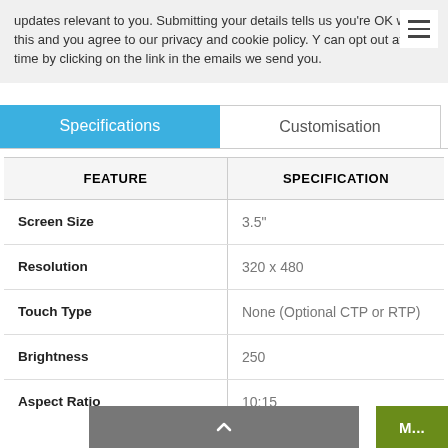updates relevant to you. Submitting your details tells us you're OK with this and you agree to our privacy and cookie policy. Y can opt out at any time by clicking on the link in the emails we send you.
Specifications | Customisation
| FEATURE | SPECIFICATION |
| --- | --- |
| Screen Size | 3.5" |
| Resolution | 320 x 480 |
| Touch Type | None (Optional CTP or RTP) |
| Brightness | 250 |
| Aspect Ratio | 10:15 |